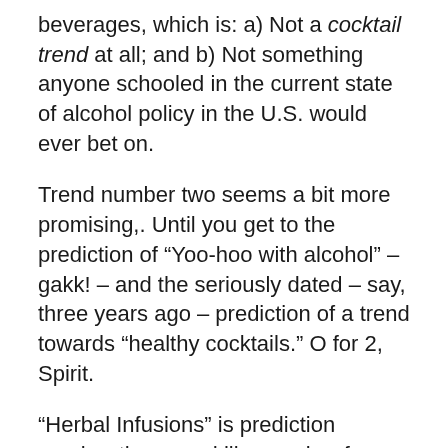beverages, which is: a) Not a cocktail trend at all; and b) Not something anyone schooled in the current state of alcohol policy in the U.S. would ever bet on.
Trend number two seems a bit more promising,. Until you get to the prediction of “Yoo-hoo with alcohol” – gakk! – and the seriously dated – say, three years ago – prediction of a trend towards “healthy cocktails.” O for 2, Spirit.
“Herbal Infusions” is prediction number three, and like number four, “Better Bitters,” it’s at least relevant, if a couple of years too late. And so we end with prediction five, which is so woefully misguided that I actually start to feel sorry for The Spirit.